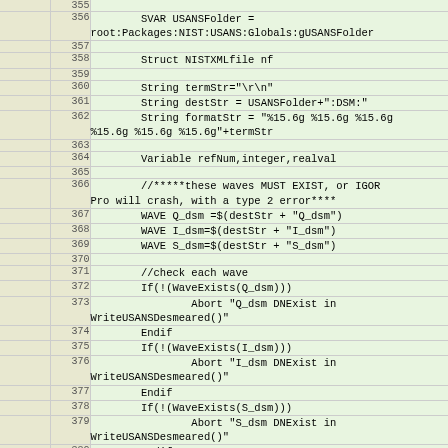[Figure (screenshot): Code editor view showing lines 355-380 of Igor Pro source code, with line numbers in a beige column on the left and code in a light green column on the right. The code is part of a WriteUSANSDesmeared() function.]